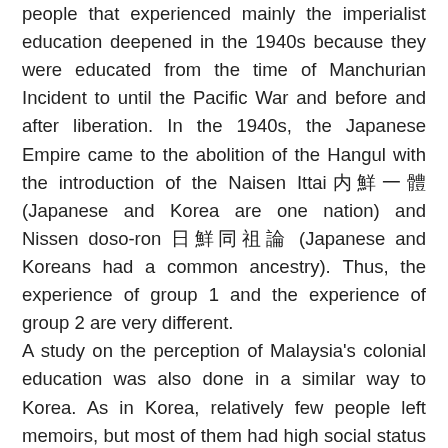people that experienced mainly the imperialist education deepened in the 1940s because they were educated from the time of Manchurian Incident to until the Pacific War and before and after liberation. In the 1940s, the Japanese Empire came to the abolition of the Hangul with the introduction of the Naisen Ittai内鮮一體 (Japanese and Korea are one nation) and Nissen doso-ron 日鮮同祖論 (Japanese and Koreans had a common ancestry). Thus, the experience of group 1 and the experience of group 2 are very different.
A study on the perception of Malaysia's colonial education was also done in a similar way to Korea. As in Korea, relatively few people left memoirs, but most of them had high social status and influence. Therefore, the memoirs analyzed in Malaysia and Singapore were of those educated under the British colonial rule of the Malayas. Because Singapore was a state in Malaysia, also analyzed were the memoirs of Singaporeans